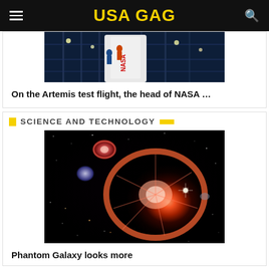USA GAG
[Figure (photo): NASA Artemis rocket on launch scaffolding with workers in blue suits, lit at night]
On the Artemis test flight, the head of NASA …
SCIENCE AND TECHNOLOGY
[Figure (photo): James Webb Space Telescope image of the Cartwheel Galaxy showing a large ring galaxy with glowing pink/red outer ring and smaller companion galaxies against a black starfield]
Phantom Galaxy looks more